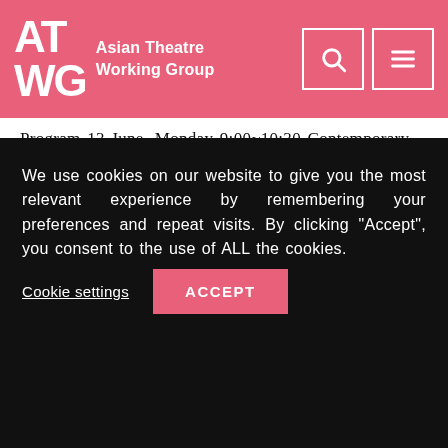Asian Theatre Working Group
Program 13 June, Monday 9:00~10:30 Contemporary Asian Puppet and Marionette theatre Lia Wenching LIANGTaiwan, National Tsing Hua University"March on, join bravely": Wang Chia-ming's first Journey with Shakespearei's Richard III Seokhun CHOISouth Korea, Yonsei...
May 5, 2016
We use cookies on our website to give you the most relevant experience by remembering your preferences and repeat visits. By clicking “Accept”, you consent to the use of ALL the cookies.
Cookie settings
ACCEPT